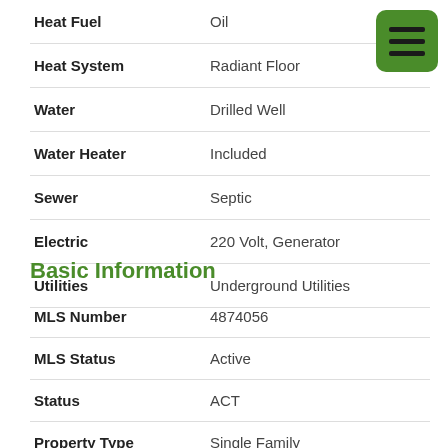| Field | Value |
| --- | --- |
| Heat Fuel | Oil |
| Heat System | Radiant Floor |
| Water | Drilled Well |
| Water Heater | Included |
| Sewer | Septic |
| Electric | 220 Volt, Generator |
| Utilities | Underground Utilities |
Basic Information
| Field | Value |
| --- | --- |
| MLS Number | 4874056 |
| MLS Status | Active |
| Status | ACT |
| Property Type | Single Family |
| List Price | $4,850,000 |